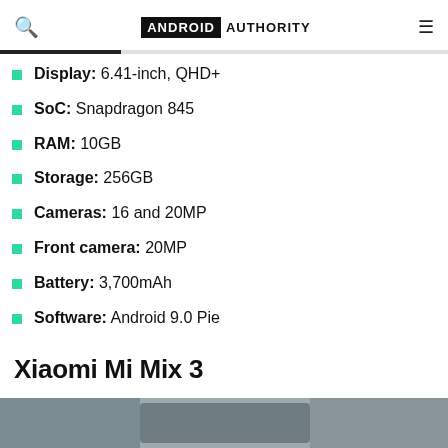ANDROID AUTHORITY
Display: 6.41-inch, QHD+
SoC: Snapdragon 845
RAM: 10GB
Storage: 256GB
Cameras: 16 and 20MP
Front camera: 20MP
Battery: 3,700mAh
Software: Android 9.0 Pie
Xiaomi Mi Mix 3
[Figure (photo): Bottom portion of page showing a photo of Xiaomi Mi Mix 3 device]